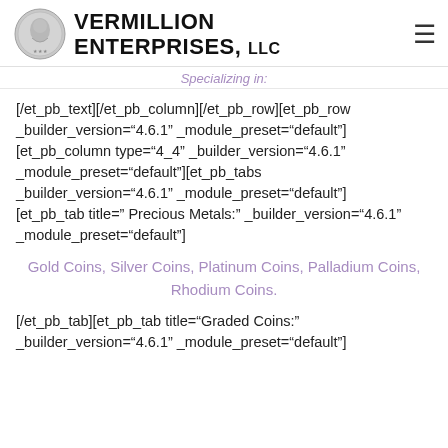VERMILLION ENTERPRISES, LLC
Specializing in:
[/et_pb_text][/et_pb_column][/et_pb_row][et_pb_row _builder_version="4.6.1" _module_preset="default"][et_pb_column type="4_4" _builder_version="4.6.1" _module_preset="default"][et_pb_tabs _builder_version="4.6.1" _module_preset="default"][et_pb_tab title=" Precious Metals:" _builder_version="4.6.1" _module_preset="default"]
Gold Coins, Silver Coins, Platinum Coins, Palladium Coins, Rhodium Coins.
[/et_pb_tab][et_pb_tab title="Graded Coins:" _builder_version="4.6.1" _module_preset="default"]